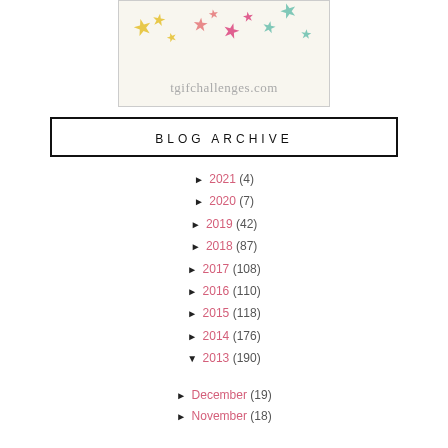[Figure (logo): tgifchallenges.com logo with colorful star illustrations on a cream background]
BLOG ARCHIVE
► 2021 (4)
► 2020 (7)
► 2019 (42)
► 2018 (87)
► 2017 (108)
► 2016 (110)
► 2015 (118)
► 2014 (176)
▼ 2013 (190)
► December (19)
► November (18)